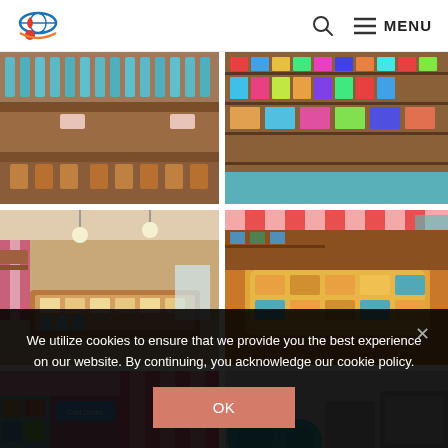Logo | Search | MENU
[Figure (photo): Interior of a candy store showing shelves with jars and dispensers]
[Figure (photo): Interior of a candy/toy store showing colorful shelves with products]
[Figure (photo): Interior of candy store with display counters and pendant lights]
[Figure (photo): Close-up of illuminated glass display case with candies/sweets]
[Figure (photo): Candy store interior with Cold Drinks sign and colorful decor]
[Figure (photo): Candy store display with teal/turquoise items]
We utilize cookies to ensure that we provide you the best experience on our website. By continuing, you acknowledge our cookie policy.
OK